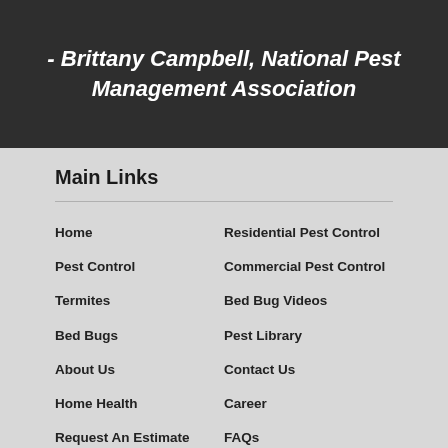- Brittany Campbell, National Pest Management Association
Main Links
Home
Residential Pest Control
Pest Control
Commercial Pest Control
Termites
Bed Bug Videos
Bed Bugs
Pest Library
About Us
Contact Us
Home Health
Career
Request An Estimate
FAQs
Contact Us